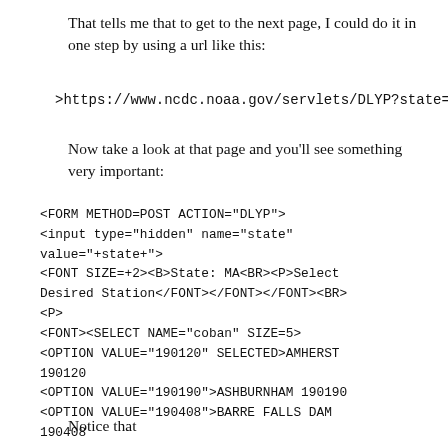That tells me that to get to the next page, I could do it in one step by using a url like this:
>https://www.ncdc.noaa.gov/servlets/DLYP?state=MA
Now take a look at that page and you'll see something very important:
<FORM METHOD=POST ACTION="DLYP">
<input type="hidden" name="state" value="+state+">
<FONT SIZE=+2><B>State: MA<BR><P>Select Desired Station</FONT></FONT></FONT><BR>
<P>
<FONT><SELECT NAME="coban" SIZE=5>
<OPTION VALUE="190120" SELECTED>AMHERST 190120
<OPTION VALUE="190190">ASHBURNHAM 190190
<OPTION VALUE="190408">BARRE FALLS DAM 190408
Notice that